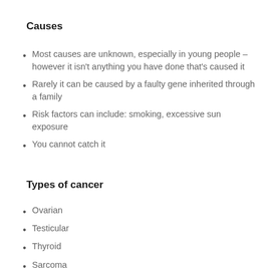Causes
Most causes are unknown, especially in young people – however it isn't anything you have done that's caused it
Rarely it can be caused by a faulty gene inherited through a family
Risk factors can include: smoking, excessive sun exposure
You cannot catch it
Types of cancer
Ovarian
Testicular
Thyroid
Sarcoma
Leukaemia (acute lymphoblastic & acute myeloid)